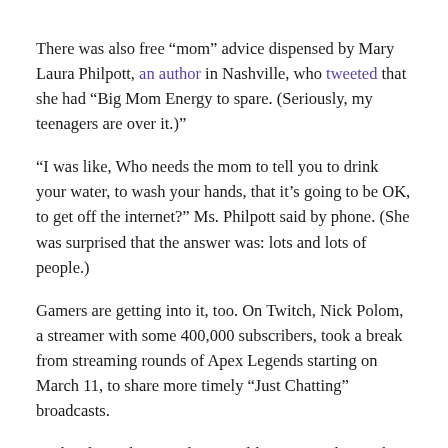There was also free “mom” advice dispensed by Mary Laura Philpott, an author in Nashville, who tweeted that she had “Big Mom Energy to spare. (Seriously, my teenagers are over it.)”
“I was like, Who needs the mom to tell you to drink your water, to wash your hands, that it’s going to be OK, to get off the internet?” Ms. Philpott said by phone. (She was surprised that the answer was: lots and lots of people.)
Gamers are getting into it, too. On Twitch, Nick Polom, a streamer with some 400,000 subscribers, took a break from streaming rounds of Apex Legends starting on March 11, to share more timely “Just Chatting” broadcasts.
Each is hours long, with names like “Doomsday cooking stream” (in which he livestreamed his stir fry, grocery rundown, and jokes about frozen chicken tenders) and “Girlfriend and Boyfriend stuck in quarantine!” (in which he livestreamed himself playing virtual reality games with his partner, for a remote audience of thousands).